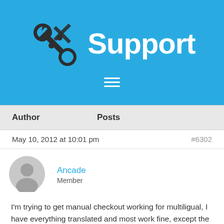Support
| Author | Posts |
| --- | --- |
May 10, 2012 at 10:01 pm    #6302
Ancade
Member
I'm trying to get manual checkout working for multiligual, I have everything translated and most work fine, except the order form in manual checkout. Also all language manual checkout url goes to the same url: http://www.domain.com/wp-content/plugins/wp-cart-for-digital-products/eStore_manual_gateway.php
Maybe I should change something somewhere so this also works multilingual?